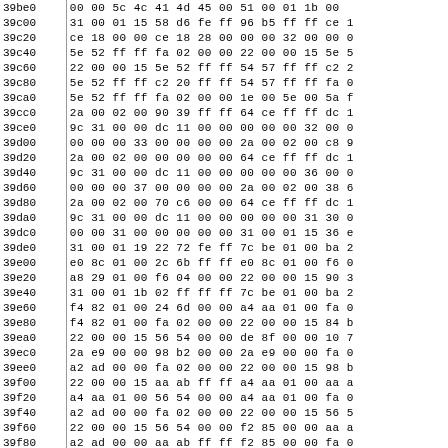| Address | Data |
| --- | --- |
| 39be0 | 00 00 5c 4c 41 4d 45 00 51 00 01 1b 00 |
| 39c00 | 31 00 01 15 58 d6 fe ff 96 b5 ff ff ce 1 |
| 39c20 | ce 18 00 00 ce 18 28 00 00 00 32 00 00 0 |
| 39c40 | 5e 52 ff ff fa 02 00 00 22 00 00 15 5e 5 |
| 39c60 | 22 00 00 15 5e 52 ff ff 54 57 ff ff c2 2 |
| 39c80 | 5e 52 ff ff c2 20 ff ff 54 57 ff ff fa 0 |
| 39ca0 | 5e 52 ff ff fa 02 00 00 1e 00 5e 00 5a f |
| 39cc0 | 2a 00 02 00 90 39 ff ff 64 ce ff ff dc 1 |
| 39ce0 | 9c 31 00 00 dc 11 00 00 00 00 00 32 00 0 |
| 39d00 | 00 00 00 33 00 00 00 00 2a 00 02 00 c8 9 |
| 39d20 | 2a 00 02 00 00 00 00 00 64 ce ff ff dc 1 |
| 39d40 | 9c 31 00 00 dc 11 00 00 00 00 00 36 00 0 |
| 39d60 | 00 00 00 37 00 00 00 00 2a 00 02 00 38 6 |
| 39d80 | 2a 00 02 00 70 c6 00 00 64 ce ff ff dc 1 |
| 39da0 | 9c 31 00 00 dc 11 00 00 00 00 00 31 30 0 |
| 39dc0 | 00 00 31 00 00 00 00 00 31 00 01 15 36 e |
| 39de0 | 31 00 01 19 22 72 fe ff 7c be 01 00 ba 2 |
| 39e00 | e0 8c 01 00 2c 6b ff ff e0 8c 01 00 f6 0 |
| 39e20 | a8 29 01 00 f6 04 00 00 22 00 00 15 90 3 |
| 39e40 | 31 00 01 1b 02 ff ff ff 7c be 01 00 ba 2 |
| 39e60 | f4 82 01 00 24 6d 00 00 a4 aa 01 00 fa 0 |
| 39e80 | f4 82 01 00 fa 02 00 00 22 00 00 15 84 b |
| 39ea0 | 22 00 00 15 56 54 00 00 de 8f 00 00 10 7 |
| 39ec0 | 2a e9 00 00 98 b2 00 00 2a e9 00 00 fa 0 |
| 39ee0 | a2 ad 00 00 fa 02 00 00 22 00 00 15 98 b |
| 39f00 | 22 00 00 15 aa ab ff ff a4 aa 01 00 aa a |
| 39f20 | a4 aa 01 00 56 54 00 00 a4 aa 01 00 fa 0 |
| 39f40 | a2 ad 00 00 fa 02 00 00 22 00 00 15 56 5 |
| 39f60 | 22 00 00 15 56 54 00 00 f2 85 00 00 aa a |
| 39f80 | a2 ad 00 00 aa ab ff ff f2 85 00 00 fa 0 |
| 39fa0 | dc 8f 00 00 fa 02 00 00 22 00 00 15 56 |